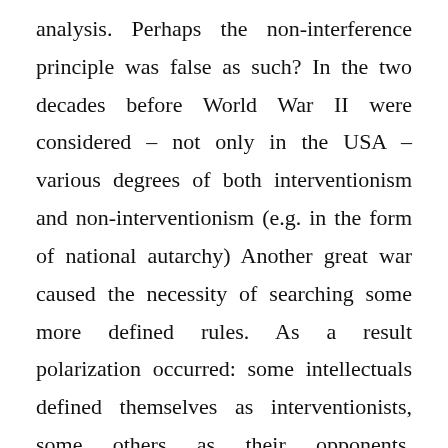analysis. Perhaps the non-interference principle was false as such? In the two decades before World War II were considered – not only in the USA – various degrees of both interventionism and non-interventionism (e.g. in the form of national autarchy) Another great war caused the necessity of searching some more defined rules. As a result polarization occurred: some intellectuals defined themselves as interventionists, some others as their opponents. Apparently, the real world order during the cold war might be considered according to the scheme of interference/non-interference. There is evidence that both rules alternated: Soviet aid for communists in the civil wars in Greece and China and then with breach of it, the success of the Col...